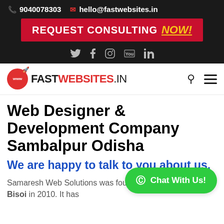9040078303  hello@fastwebsites.in
[Figure (infographic): Red banner with text REQUEST CONSULTING NOW! in white and yellow]
[Figure (other): Social media icons: Twitter, Facebook, Instagram, YouTube, LinkedIn]
[Figure (logo): FASTWEBSITES.IN logo with red globe icon and rocket]
Web Designer & Development Company Sambalpur Odisha
We are happy to talk to you about us.
Samaresh Web Solutions was founded by Samaresh Bisoi in 2010. It has